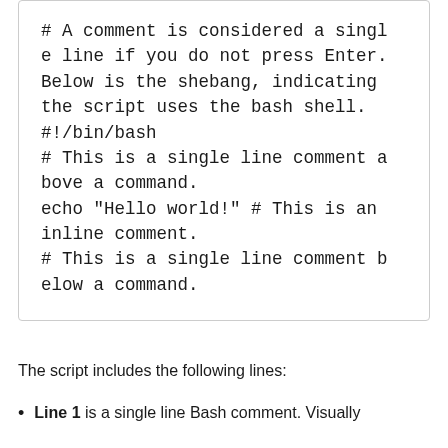[Figure (screenshot): Code block showing bash script with comments and echo command: # A comment is considered a single line if you do not press Enter. Below is the shebang, indicating the script uses the bash shell. #!/bin/bash # This is a single line comment above a command. echo "Hello world!" # This is an inline comment. # This is a single line comment below a command.]
The script includes the following lines:
Line 1 is a single line Bash comment. Visually